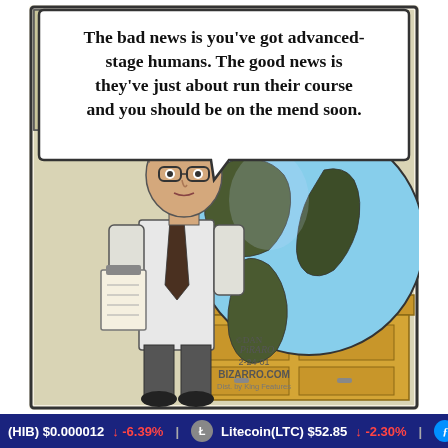[Figure (illustration): Bizarro comic strip by Dan Piraro (2-24-01). A doctor in a white lab coat holding a clipboard stands in an exam room. He is speaking to a large globe of the Earth sitting on an examination table. A speech bubble reads: 'The bad news is you've got advanced-stage humans. The good news is they've just about run their course and you should be on the mend soon.' The comic is signed by Piraro and credits Bizarro.com and Dist. by King Features.]
(HIB) $0.000012 ↓ -6.39% Litecoin(LTC) $52.85 ↓ -2.30% Fil